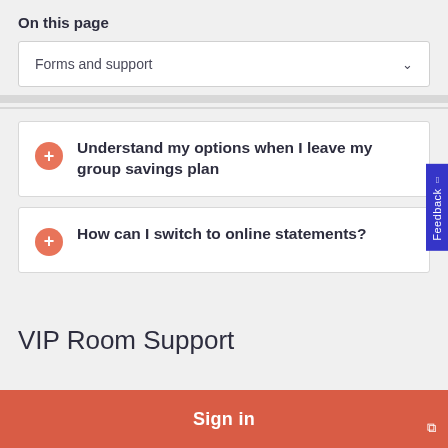On this page
Forms and support
Understand my options when I leave my group savings plan
How can I switch to online statements?
VIP Room Support
Sign in